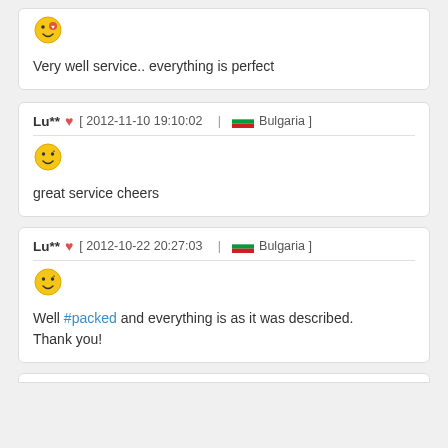Very well service.. everything is perfect
Lu** [ 2012-11-10 19:10:02 | Bulgaria ]
great service cheers
Lu** [ 2012-10-22 20:27:03 | Bulgaria ]
Well #packed and everything is as it was described. Thank you!